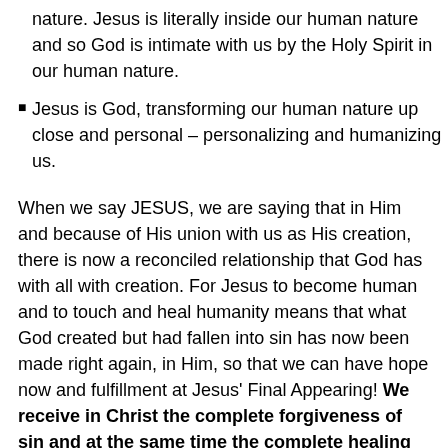nature. Jesus is literally inside our human nature and so God is intimate with us by the Holy Spirit in our human nature.
Jesus is God, transforming our human nature up close and personal – personalizing and humanizing us.
When we say JESUS, we are saying that in Him and because of His union with us as His creation, there is now a reconciled relationship that God has with all with creation. For Jesus to become human and to touch and heal humanity means that what God created but had fallen into sin has now been made right again, in Him, so that we can have hope now and fulfillment at Jesus' Final Appearing! We receive in Christ the complete forgiveness of sin and at the same time the complete healing of the proper relationship between God and man, and all creation.